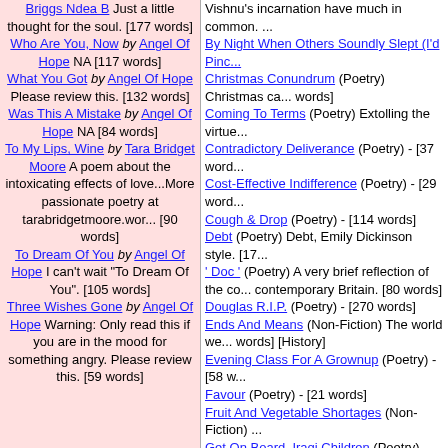Briggs Ndea B Just a little thought for the soul. [177 words]
Who Are You, Now by Angel Of Hope NA [117 words]
What You Got by Angel Of Hope Please review this. [132 words]
Was This A Mistake by Angel Of Hope NA [84 words]
To My Lips, Wine by Tara Bridget Moore A poem about the intoxicating effects of love...More passionate poetry at tarabridgetmoore.wor... [90 words]
To Dream Of You by Angel Of Hope I can't wait "To Dream Of You". [105 words]
Three Wishes Gone by Angel Of Hope Warning: Only read this if you are in the mood for something angry. Please review this. [59 words]
By Night When Others Soundly Slept (I'd Pinc...
Christmas Conundrum (Poetry) Christmas ca... words]
Coming To Terms (Poetry) Extolling the virtue...
Contradictory Deliverance (Poetry) - [37 word...
Cost-Effective Indifference (Poetry) - [29 word...
Cough & Drop (Poetry) - [114 words]
Debt (Poetry) Debt, Emily Dickinson style. [17...
' Doc ' (Poetry) A very brief reflection of the contemporary Britain. [80 words]
Douglas R.I.P. (Poetry) - [270 words]
Ends And Means (Non-Fiction) The world we... words] [History]
Evening Class For A Grownup (Poetry) - [58 w...
Favour (Poetry) - [21 words]
Fruit And Vegetable Shortages (Non-Fiction) ...
Get On Board, Iraqi Children (Poetry) Allah's ... children. [181 words]
Good News Is No News (Short Stories) Good... [Literary Fiction]
Growing Up (2006) (Poetry) - [28 words]
Hey John! How Are Things My Friend? (Poetr...
Hit The Sack (Poetry) - [299 words]
If I Die (Poetry) Inspired by a conversation on... daughter and I. Suddenly, she wanted to explo...
Imperialism Dear Boy, Imperialism (Poetry) I...